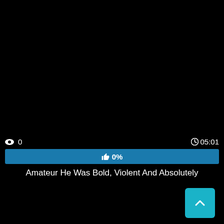[Figure (screenshot): Black video player area]
👁 0   ⏱ 05:01
👍 0%
Amateur He Was Bold, Violent And Absolutely
[Figure (infographic): Social sharing icons: Facebook, Twitter, Email, Pinterest, Tumblr, Reddit, Blogger, WordPress, VK, Share; plus scroll-to-top button]